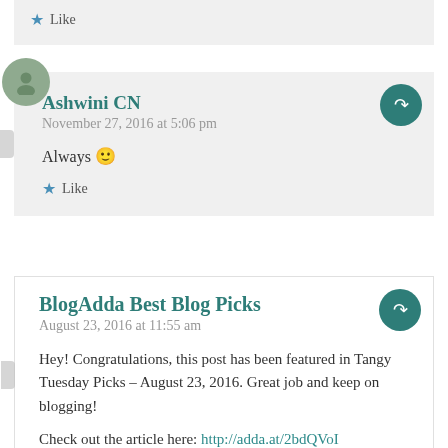Like
Ashwini CN
November 27, 2016 at 5:06 pm
Always 🙂
Like
BlogAdda Best Blog Picks
August 23, 2016 at 11:55 am
Hey! Congratulations, this post has been featured in Tangy Tuesday Picks – August 23, 2016. Great job and keep on blogging!
Check out the article here: http://adda.at/2bdQVoI